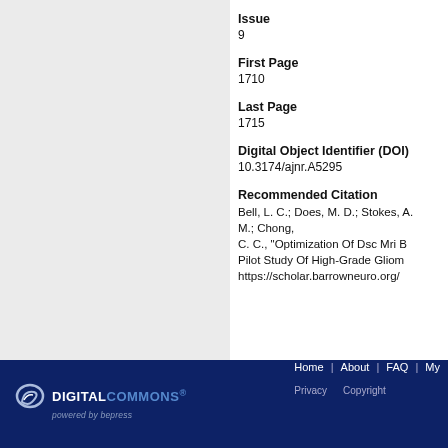Issue
9
First Page
1710
Last Page
1715
Digital Object Identifier (DOI)
10.3174/ajnr.A5295
Recommended Citation
Bell, L. C.; Does, M. D.; Stokes, A. M.; Baird, G. L.; Chong, C. C., "Optimization Of Dsc Mri B... Pilot Study Of High-Grade Glioma" https://scholar.barrowneuro.org/
DIGITAL COMMONS powered by bepress | Home | About | FAQ | My Account | Privacy | Copyright